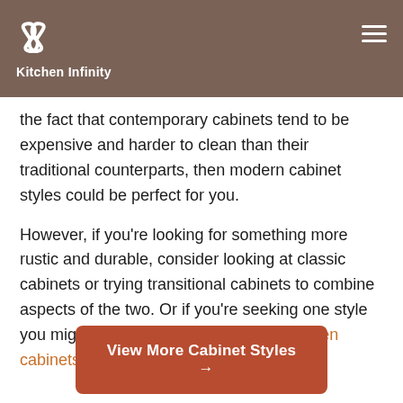Kitchen Infinity
the fact that contemporary cabinets tend to be expensive and harder to clean than their traditional counterparts, then modern cabinet styles could be perfect for you.
However, if you're looking for something more rustic and durable, consider looking at classic cabinets or trying transitional cabinets to combine aspects of the two. Or if you're seeking one style you might also be interested in rustic kitchen cabinets.
View More Cabinet Styles →